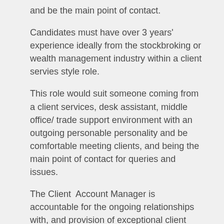and be the main point of contact.
Candidates must have over 3 years' experience ideally from the stockbroking or wealth management industry within a client servies style role.
This role would suit someone coming from a client services, desk assistant, middle office/ trade support environment with an outgoing personable personality and be comfortable meeting clients, and being the main point of contact for queries and issues.
The Client  Account Manager is accountable for the ongoing relationships with, and provision of exceptional client service to clients and support personnel of each of these clients. Client Account Managers are also responsible for maintaining good working relationships with each of our internal partners, including Sales, IT, Onboarding teams and senior management
Responsibilities:
Develop a deep understanding of assigned clients